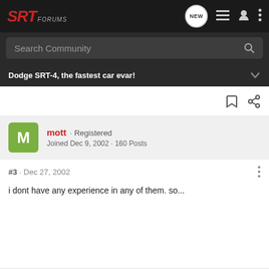SRT Forums
Search Community
Dodge SRT-4, the fastest car evar!
mott · Registered
Joined Dec 9, 2002 · 160 Posts
#3 · Dec 27, 2002
i dont have any experience in any of them. so...